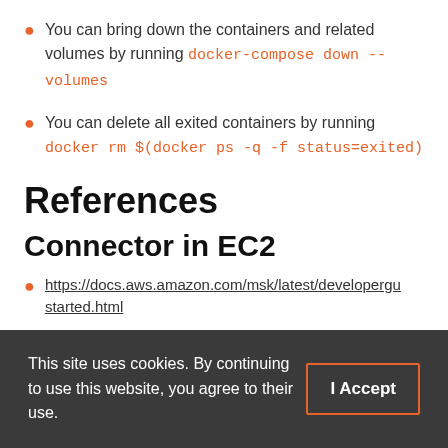You can bring down the containers and related volumes by running docker-compose down --volumes
You can delete all exited containers by running docker rm $(docker ps -q -f status=exited)
References
Connector in EC2
https://docs.aws.amazon.com/msk/latest/developergu…started.html
https://docs.confluent.io/cloud/current/connectors/cc-…
This site uses cookies. By continuing to use this website, you agree to their use.